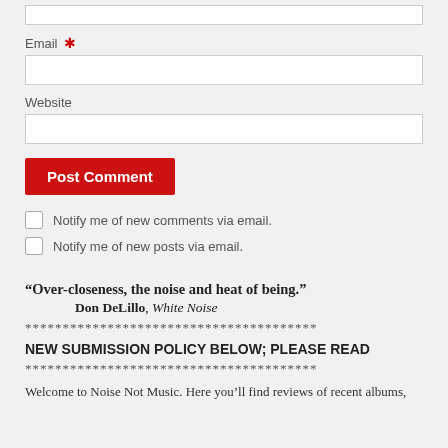Email *
Website
Post Comment
Notify me of new comments via email.
Notify me of new posts via email.
“Over-closeness, the noise and heat of being.”
Don DeLillo, White Noise
***************************************
NEW SUBMISSION POLICY BELOW; PLEASE READ
***************************************
Welcome to Noise Not Music. Here you’ll find reviews of recent albums,